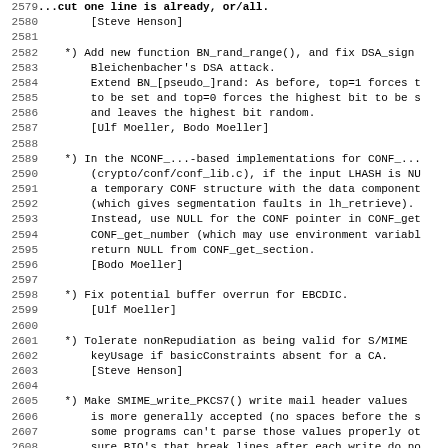Code/changelog listing lines 2579-2611 showing OpenSSL changelog entries
2580: [Steve Henson]
2582-2587: *) Add new function BN_rand_range(), and fix DSA_sign Bleichenbacher's DSA attack. Extend BN_[pseudo_]rand: As before, top=1 forces t to be set and top=0 forces the highest bit to be s and leaves the highest bit random. [Ulf Moeller, Bodo Moeller]
2589-2596: *) In the NCONF_...-based implementations for CONF_... (crypto/conf/conf_lib.c), if the input LHASH is NU a temporary CONF structure with the data component (which gives segmentation faults in lh_retrieve). Instead, use NULL for the CONF pointer in CONF_get CONF_get_number (which may use environment variabl return NULL from CONF_get_section. [Bodo Moeller]
2598-2599: *) Fix potential buffer overrun for EBCDIC. [Ulf Moeller]
2601-2603: *) Tolerate nonRepudiation as being valid for S/MIME keyUsage if basicConstraints absent for a CA. [Steve Henson]
2605-2610: *) Make SMIME_write_PKCS7() write mail header values is more generally accepted (no spaces before the s some programs can't parse those values properly ot sure BIO's that break lines after each write do no headers. [Richard Levitte]